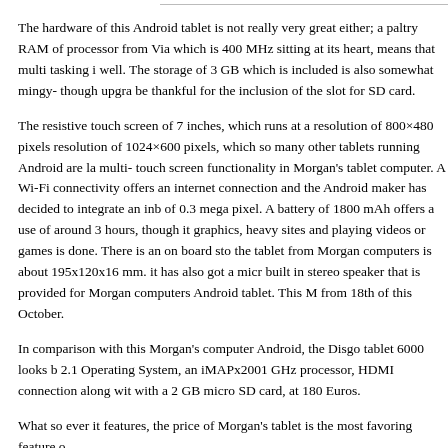The hardware of this Android tablet is not really very great either; a paltry RAM of processor from Via which is 400 MHz sitting at its heart, means that multi tasking i well. The storage of 3 GB which is included is also somewhat mingy- though upgra be thankful for the inclusion of the slot for SD card.
The resistive touch screen of 7 inches, which runs at a resolution of 800×480 pixels resolution of 1024×600 pixels, which so many other tablets running Android are la multi- touch screen functionality in Morgan's tablet computer. A Wi-Fi connectivity offers an internet connection and the Android maker has decided to integrate an inb of 0.3 mega pixel. A battery of 1800 mAh offers a use of around 3 hours, though it graphics, heavy sites and playing videos or games is done. There is an on board sto the tablet from Morgan computers is about 195x120x16 mm. it has also got a micr built in stereo speaker that is provided for Morgan computers Android tablet. This M from 18th of this October.
In comparison with this Morgan's computer Android, the Disgo tablet 6000 looks b 2.1 Operating System, an iMAPx2001 GHz processor, HDMI connection along wit with a 2 GB micro SD card, at 180 Euros.
What so ever it features, the price of Morgan's tablet is the most favoring feature o